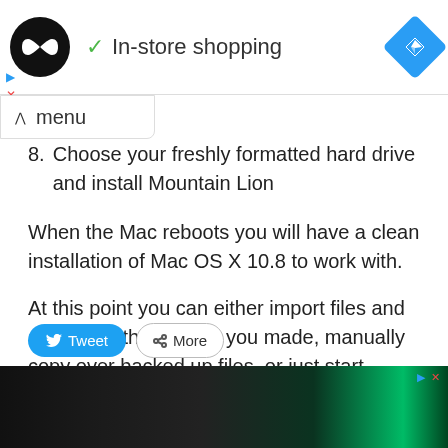[Figure (screenshot): Top bar with logo circle (infinity symbol), checkmark and 'In-store shopping' label, blue diamond navigation icon, small ad play/close icons]
menu
8. Choose your freshly formatted hard drive and install Mountain Lion
When the Mac reboots you will have a clean installation of Mac OS X 10.8 to work with.
At this point you can either import files and apps from the backup you made, manually copy over backed up files, or just start anew.
[Figure (screenshot): Tweet and More share buttons]
[Figure (photo): Bottom advertisement image strip showing a dark store/building exterior with green lighting]